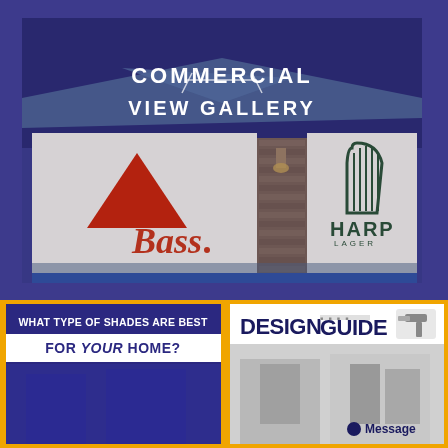[Figure (photo): Commercial building exterior showing Bass and Harp Lager beer brand illuminated signage panels, with text overlay 'COMMERCIAL VIEW GALLERY']
[Figure (infographic): Dark blue card with text 'WHAT TYPE OF SHADES ARE BEST FOR YOUR HOME?' on gold background]
[Figure (infographic): White card showing 'DESIGN GUIDE' title with hammer icon and 'Message' button, with interior photo background]